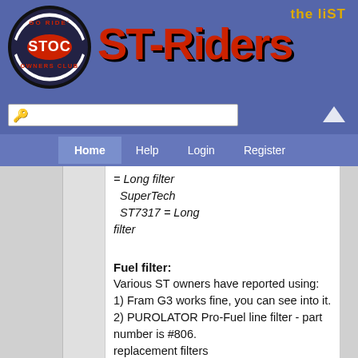[Figure (logo): STOC ST Riders logo - circular badge with GO RIDE text and STOC Owners Club, combined with ST-Riders the liST website banner]
ST-Riders the liST - Home Help Login Register navigation with search bar
= Long filter SuperTech ST7317 = Long filter
Fuel filter:
Various ST owners have reported using:
1) Fram G3 works fine, you can see into it.
2) PUROLATOR Pro-Fuel line filter - part number is #806.
replacement filters